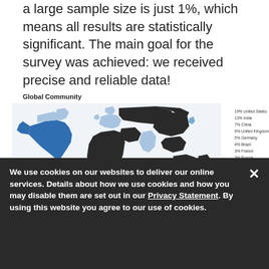a large sample size is just 1%, which means all results are statistically significant. The main goal for the survey was achieved: we received precise and reliable data!
Global Community
[Figure (map): World map showing global community distribution with countries colored in shades of blue and dark/black. Legend on right lists country percentages: 19% United States, 13% India, 7% China, 6% United Kingdom, 5% Germany, 4% Brazil, 3% France, 3% Russia, 2% Poland, 2% Canada, 2% Australia, 2% Spain, 34% Others]
We use cookies on our websites to deliver our online services. Details about how we use cookies and how you may disable them are set out in our Privacy Statement. By using this website you agree to our use of cookies.